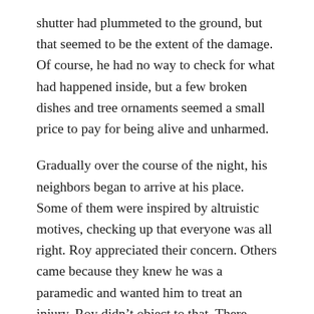shutter had plummeted to the ground, but that seemed to be the extent of the damage. Of course, he had no way to check for what had happened inside, but a few broken dishes and tree ornaments seemed a small price to pay for being alive and unharmed.
Gradually over the course of the night, his neighbors began to arrive at his place. Some of them were inspired by altruistic motives, checking up that everyone was all right. Roy appreciated their concern. Others came because they knew he was a paramedic and wanted him to treat an injury. Roy didn’t object to that. There wasn’t all that much he could do, but even just making sure someone was comfortable gave them a sense of calm.
Having more people huddling together kept everybody